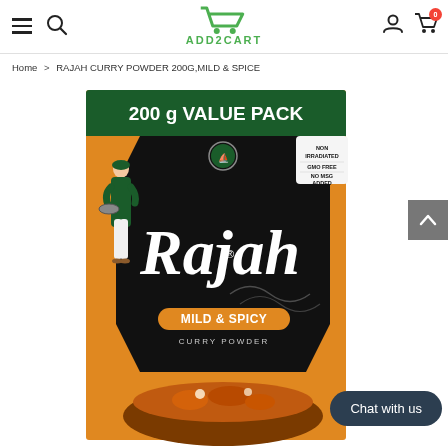ADD2CART - online shopping header with hamburger menu, search, logo, user icon, cart (0)
Home > RAJAH CURRY POWDER 200G,MILD & SPICE
[Figure (photo): Rajah Mild & Spicy Curry Powder 200g Value Pack box. Orange box with dark green top band reading '200 g VALUE PACK'. Central black hexagon shape with Rajah logo (ship), cursive white 'Rajah' text, orange 'MILD & SPICY' badge, 'CURRY POWDER' text below. White badge on right: NON IRRADIATED, GMO FREE, NO MSG ADDED. Green-robed man figure on left. Curry dish visible at bottom.]
Chat with us